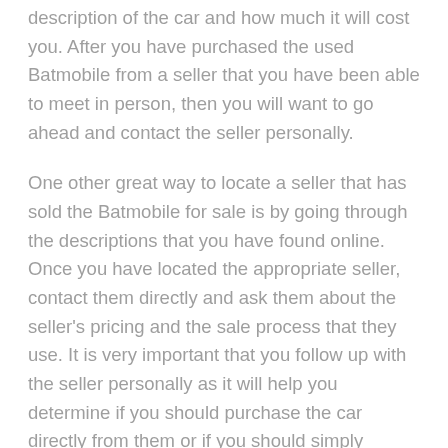description of the car and how much it will cost you. After you have purchased the used Batmobile from a seller that you have been able to meet in person, then you will want to go ahead and contact the seller personally.
One other great way to locate a seller that has sold the Batmobile for sale is by going through the descriptions that you have found online. Once you have located the appropriate seller, contact them directly and ask them about the seller's pricing and the sale process that they use. It is very important that you follow up with the seller personally as it will help you determine if you should purchase the car directly from them or if you should simply contact Amazon and purchase it from them.
Always remember that when purchasing a used Batmobile from a seller that has received several good reviews, you